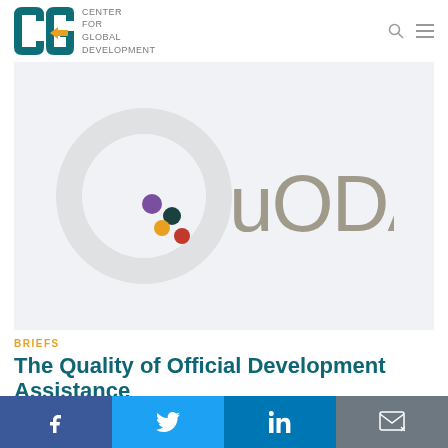CENTER FOR GLOBAL DEVELOPMENT
[Figure (logo): QuODA logo — large stylized letter O in grey with colored dots (purple, dark teal, yellow, orange-red) and the text 'QuODA' in tan/grey]
BRIEFS
The Quality of Official Development Assistance
Ian Mitchell et al.
Facebook  Twitter  LinkedIn  Email